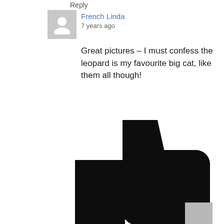Reply
French Linda
7 years ago
Great pictures – I must confess the leopard is my favourite big cat, like them all though!
[Figure (illustration): Large black thumbs-up like icon (Facebook-style like button) with a rectangular palm base and rounded thumb shape pointing upward-right]